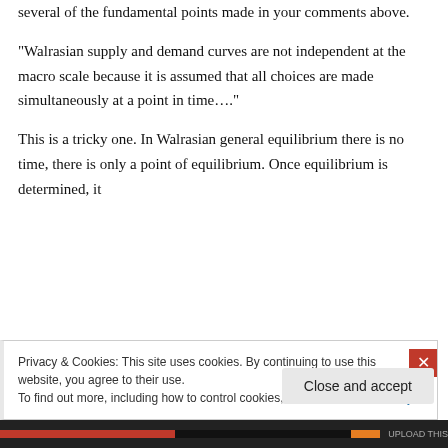several of the fundamental points made in your comments above.
“Walrasian supply and demand curves are not independent at the macro scale because it is assumed that all choices are made simultaneously at a point in time….”
This is a tricky one. In Walrasian general equilibrium there is no time, there is only a point of equilibrium. Once equilibrium is determined, it
Privacy & Cookies: This site uses cookies. By continuing to use this website, you agree to their use.
To find out more, including how to control cookies, see here: Cookie Policy
Close and accept